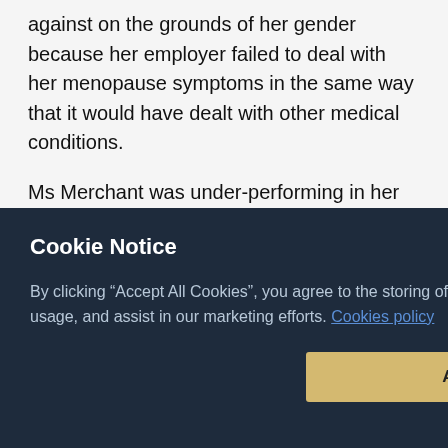against on the grounds of her gender because her employer failed to deal with her menopause symptoms in the same way that it would have dealt with other medical conditions.
Ms Merchant was under-performing in her role and had been subject to the capability or performance management process a number of times. She reached a final written warning and her employers were to decide whether to offer her alternative
[Figure (screenshot): Cookie Notice modal overlay on a dark navy background. Title: 'Cookie Notice'. Body text: 'By clicking "Accept All Cookies", you agree to the storing of cookies on your device to enhance site navigation, analyze site usage, and assist in our marketing efforts. Cookies policy'. Button: 'Accept Cookies' (yellow/gold). Link: 'Cookies Settings'.]